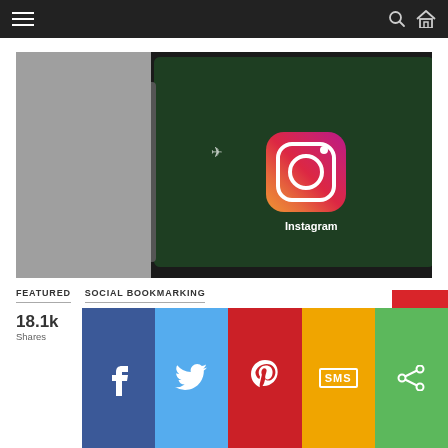Navigation bar with hamburger menu, search icon, and home icon
[Figure (photo): Close-up photo of a smartphone showing the Instagram app icon on a dark green screen background, with metal frame and volume buttons visible]
FEATURED   SOCIAL BOOKMARKING
18.1k Shares
[Figure (infographic): Social share buttons row: Facebook (blue), Twitter (light blue), Pinterest (red), SMS (yellow/orange), Share/More (green), and a partial red button in top right corner]